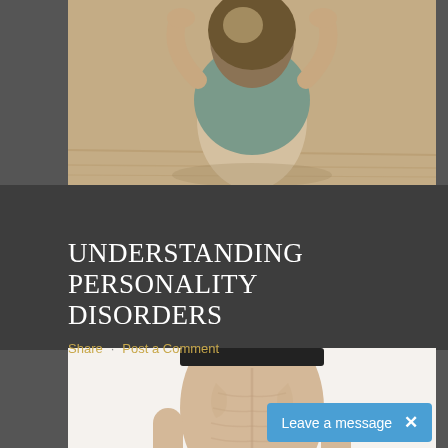[Figure (photo): Person viewed from behind sitting on floor with hands behind head, wearing a grey top, wooden floor background]
UNDERSTANDING PERSONALITY DISORDERS
Share  Post a Comment
[Figure (photo): Very thin person's torso from behind wearing black sports bra and underwear, with a measuring tape wrapped around their waist, white background]
Leave a message  X